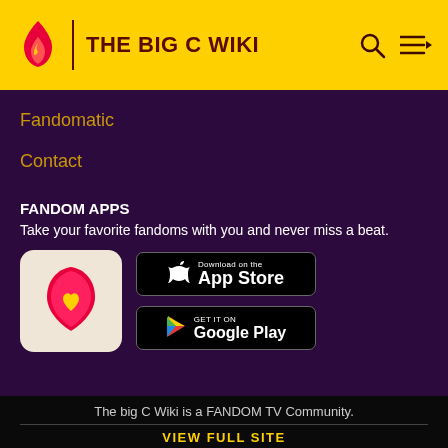THE BIG C WIKI
Fandomatic
Contact
FANDOM APPS
Take your favorite fandoms with you and never miss a beat.
[Figure (logo): Fandom app icon — pink/red flame with yellow heart on light background]
[Figure (logo): Download on the App Store button]
[Figure (logo): GET IT ON Google Play button]
The big C Wiki is a FANDOM TV Community.
VIEW FULL SITE